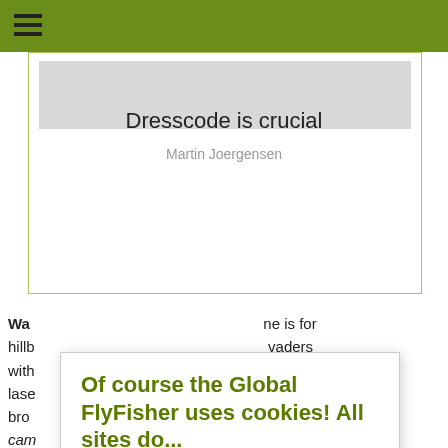[Figure (screenshot): Card with grey image placeholder, title 'Dresscode is crucial', author 'Martin Joergensen']
Dresscode is crucial
Martin Joergensen
Wac... ne is for hillb... vaders with... with lase... e. Not bro... cam... Und... You mig... ot better and... igh end synt... cotton! And... under
Of course the Global FlyFisher uses cookies! All sites do...

Authorities require us to have you confirm this by clicking any link on this page. You are then giving your consent for us to set cookies. No cookies, no GFF!
More about privacy and cookies
OK, I agree